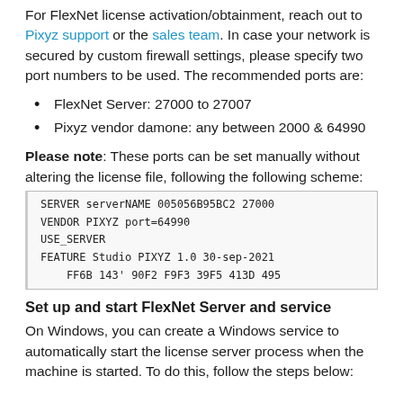For FlexNet license activation/obtainment, reach out to Pixyz support or the sales team. In case your network is secured by custom firewall settings, please specify two port numbers to be used. The recommended ports are:
FlexNet Server: 27000 to 27007
Pixyz vendor damone: any between 2000 & 64990
Please note: These ports can be set manually without altering the license file, following the following scheme:
SERVER serverNAME 005056B95BC2 27000
VENDOR PIXYZ port=64990
USE_SERVER
FEATURE Studio PIXYZ 1.0 30-sep-2021
    FF6B 1437 90F2 F9F3 39F5 413D 495
Set up and start FlexNet Server and service
On Windows, you can create a Windows service to automatically start the license server process when the machine is started. To do this, follow the steps below: